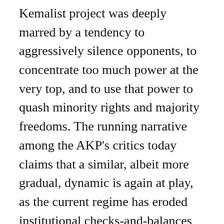Kemalist project was deeply marred by a tendency to aggressively silence opponents, to concentrate too much power at the very top, and to use that power to quash minority rights and majority freedoms. The running narrative among the AKP's critics today claims that a similar, albeit more gradual, dynamic is again at play, as the current regime has eroded institutional checks-and-balances and eliminated its domestic competitors one by one.
According to its opponents, the AKP first decimated the capacity of the Kemalist old-